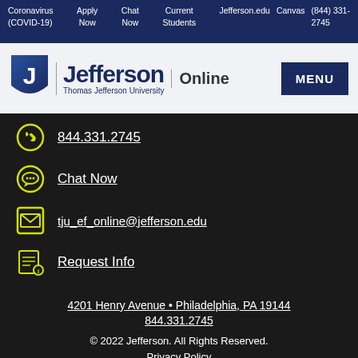Coronavirus (COVID-19) | Apply Now | Chat Now | Current Students | Jefferson.edu | Canvas | (844) 331-2745
[Figure (logo): Thomas Jefferson University Online logo with J shield and Jefferson wordmark, MENU button]
844.331.2745
Chat Now
tju_ef_online@jefferson.edu
Request Info
4201 Henry Avenue • Philadelphia, PA 19144
844.331.2745
© 2022 Jefferson. All Rights Reserved.
Privacy Policy